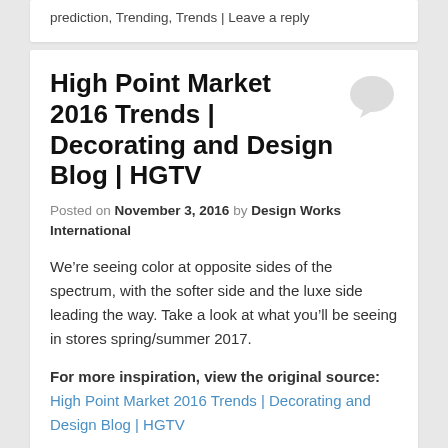prediction, Trending, Trends | Leave a reply
High Point Market 2016 Trends | Decorating and Design Blog | HGTV
Posted on November 3, 2016 by Design Works International
We’re seeing color at opposite sides of the spectrum, with the softer side and the luxe side leading the way. Take a look at what you’ll be seeing in stores spring/summer 2017.
For more inspiration, view the original source: High Point Market 2016 Trends | Decorating and Design Blog | HGTV
[Figure (photo): Photo of a table lamp and decorative items on a surface]